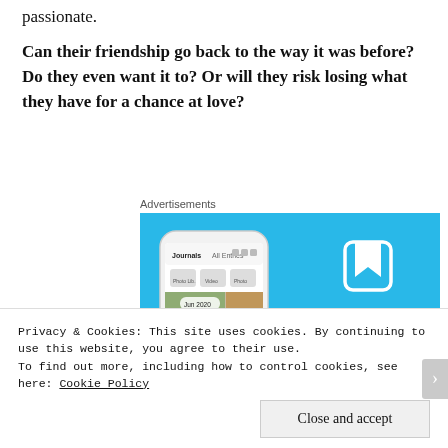passionate.
Can their friendship go back to the way it was before? Do they even want it to? Or will they risk losing what they have for a chance at love?
[Figure (illustration): Advertisement for DayOne journaling app showing a phone mockup on the left with the app interface visible, and on the right the DayOne logo, name in spaced letters, and tagline 'Your Journal for life' on a bright blue background.]
Privacy & Cookies: This site uses cookies. By continuing to use this website, you agree to their use.
To find out more, including how to control cookies, see here: Cookie Policy
Close and accept